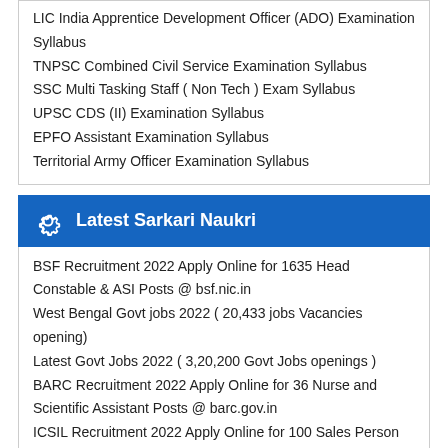LIC India Apprentice Development Officer (ADO) Examination Syllabus
TNPSC Combined Civil Service Examination Syllabus
SSC Multi Tasking Staff ( Non Tech ) Exam Syllabus
UPSC CDS (II) Examination Syllabus
EPFO Assistant Examination Syllabus
Territorial Army Officer Examination Syllabus
Latest Sarkari Naukri
BSF Recruitment 2022 Apply Online for 1635 Head Constable & ASI Posts @ bsf.nic.in
West Bengal Govt jobs 2022 ( 20,433 jobs Vacancies opening)
Latest Govt Jobs 2022 ( 3,20,200 Govt Jobs openings )
BARC Recruitment 2022 Apply Online for 36 Nurse and Scientific Assistant Posts @ barc.gov.in
ICSIL Recruitment 2022 Apply Online for 100 Sales Person Posts at icsil.in